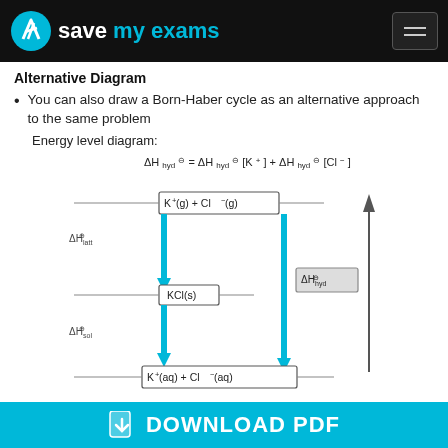Save My Exams
Alternative Diagram
You can also draw a Born-Haber cycle as an alternative approach to the same problem
Energy level diagram:
[Figure (engineering-diagram): Energy level diagram showing Born-Haber cycle for KCl. Shows energy levels with K+(g) + Cl-(g) at top, KCl(s) in the middle-left, and K+(aq) + Cl-(aq) at the bottom. Arrows show delta H lattice (downward left), delta H sol (downward left), and delta H hyd (large upward right arrow). Equation at top: delta H hyd = delta H hyd[K+] + delta H hyd[Cl-]]
DOWNLOAD PDF